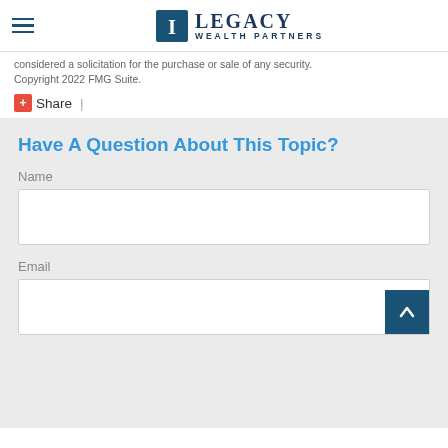Legacy Wealth Partners
considered a solicitation for the purchase or sale of any security. Copyright 2022 FMG Suite.
Share |
Have A Question About This Topic?
Name
Email